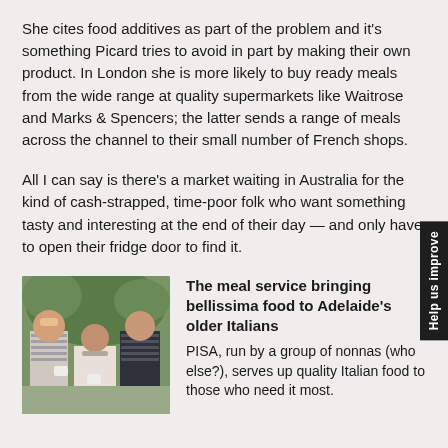She cites food additives as part of the problem and it's something Picard tries to avoid in part by making their own product. In London she is more likely to buy ready meals from the wide range at quality supermarkets like Waitrose and Marks & Spencers; the latter sends a range of meals across the channel to their small number of French shops.
All I can say is there's a market waiting in Australia for the kind of cash-strapped, time-poor folk who want something tasty and interesting at the end of their day — and only have to open their fridge door to find it.
[Figure (photo): Three women posing together holding cups, smiling, with a decorated background.]
The meal service bringing bellissima food to Adelaide's older Italians
PISA, run by a group of nonnas (who else?), serves up quality Italian food to those who need it most.